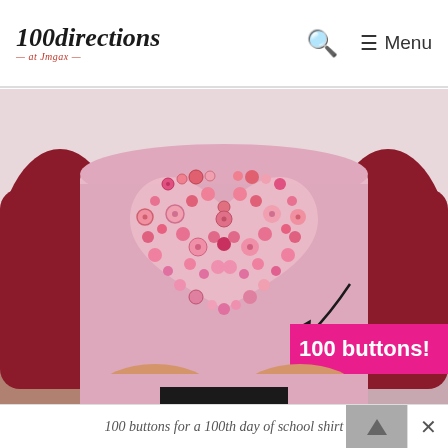100directions at Jmgax — Search — Menu
[Figure (photo): Child wearing a pink long-sleeve shirt layered over a dark red/crimson long-sleeve shirt. The pink shirt has a large heart shape on the front decorated with approximately 100 pink and red buttons of various sizes. A hot pink rectangular overlay with white bold text reads '100 buttons!' with a black arrow pointing to the heart. The background shows an interior setting.]
100 buttons for a 100th day of school shirt